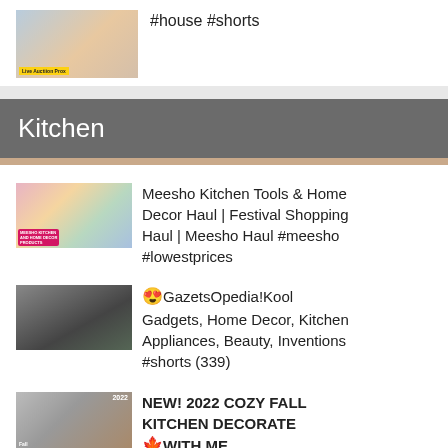[Figure (screenshot): Video thumbnail showing a small bedroom/room interior with furniture]
#house #shorts
Kitchen
[Figure (screenshot): Video thumbnail collage showing Meesho Kitchen Tools & Home Decor Haul]
Meesho Kitchen Tools & Home Decor Haul | Festival Shopping Haul | Meesho Haul #meesho #lowestprices
[Figure (screenshot): Video thumbnail showing a hand holding a device near a wall with plants]
😍 GazetsOpedia!Kool Gadgets, Home Decor, Kitchen Appliances, Beauty, Inventions #shorts (339)
[Figure (screenshot): Video thumbnail showing Fall Kitchen Decorate With Me 2022]
NEW! 2022 COZY FALL KITCHEN DECORATE 🍁WITH ME